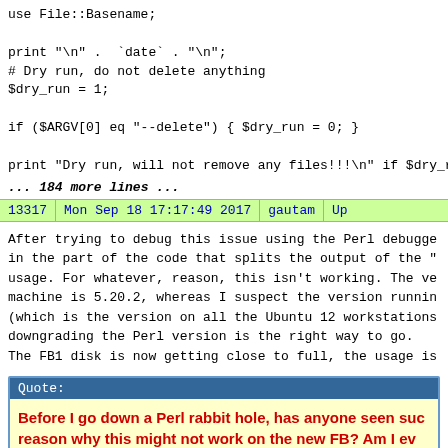use File::Basename;

print "\n" .  `date` . "\n";
# Dry run, do not delete anything
$dry_run = 1;

if ($ARGV[0] eq "--delete") { $dry_run = 0; }

print "Dry run, will not remove any files!!!\n" if $dry_run;
... 184 more lines ...
| 13317 | Mon Sep 18 17:17:49 2017 | gautam | Up... |
| --- | --- | --- | --- |
After trying to debug this issue using the Perl debugger, in the part of the code that splits the output of the "..." usage. For whatever, reason, this isn't working. The version on machine is 5.20.2, whereas I suspect the version running... (which is the version on all the Ubuntu 12 workstations...) downgrading the Perl version is the right way to go.

The FB1 disk is now getting close to full, the usage is
Quote:
Before I go down a Perl rabbit hole, has anyone seen such... reason why this might not work on the new FB? Am I ev...